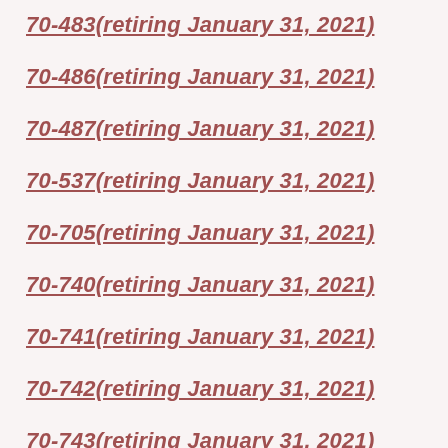70-483(retiring January 31, 2021)
70-486(retiring January 31, 2021)
70-487(retiring January 31, 2021)
70-537(retiring January 31, 2021)
70-705(retiring January 31, 2021)
70-740(retiring January 31, 2021)
70-741(retiring January 31, 2021)
70-742(retiring January 31, 2021)
70-743(retiring January 31, 2021)
70-744(retiring January 31, 2021)